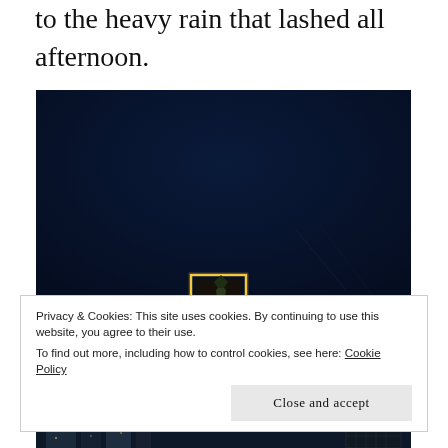to the heavy rain that lashed all afternoon.
[Figure (photo): Night sky photo with dark blue sky and a lighted billboard or sign structure faintly visible at the bottom center]
Privacy & Cookies: This site uses cookies. By continuing to use this website, you agree to their use.
To find out more, including how to control cookies, see here: Cookie Policy
Close and accept
[Figure (photo): Partial night cityscape photo at the bottom edge]